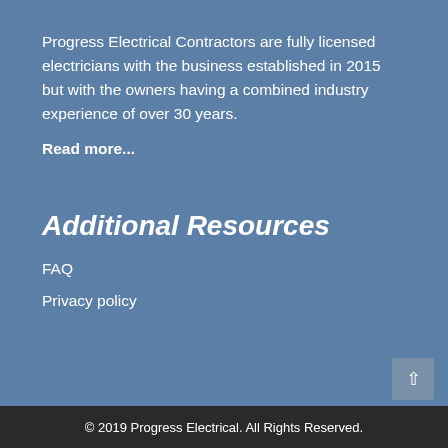Progress Electrical Contractors are fully licensed electricians with the business established in 2015 but with the owners having a combined industry experience of over 30 years.
Read more...
Additional Resources
FAQ
Privacy policy
© 2019 Progress Electrical. All Rights Reserved.